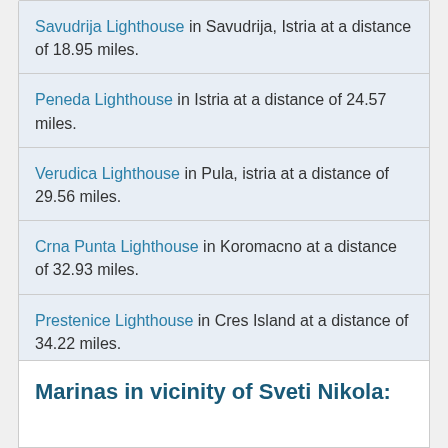Savudrija Lighthouse in Savudrija, Istria at a distance of 18.95 miles.
Peneda Lighthouse in Istria at a distance of 24.57 miles.
Verudica Lighthouse in Pula, istria at a distance of 29.56 miles.
Crna Punta Lighthouse in Koromacno at a distance of 32.93 miles.
Prestenice Lighthouse in Cres Island at a distance of 34.22 miles.
Marinas in vicinity of Sveti Nikola: